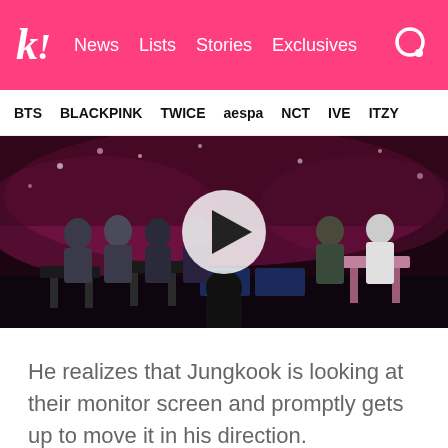k! News Lists Stories Exclusives
BTS BLACKPINK TWICE aespa NCT IVE ITZY
[Figure (screenshot): Video thumbnail showing BTS members seated at a stage event with a large play button overlay. Pink-lit concert venue background. Multiple members in suits on the left side, others in casual wear on the right.]
He realizes that Jungkook is looking at their monitor screen and promptly gets up to move it in his direction.